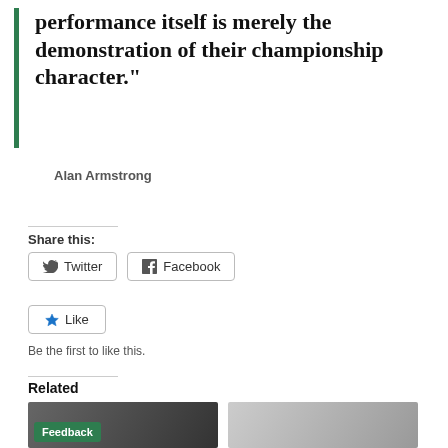performance itself is merely the demonstration of their championship character."
Alan Armstrong
Share this:
Twitter
Facebook
Like
Be the first to like this.
Related
[Figure (photo): Person typing on laptop, with Feedback badge overlay]
[Figure (photo): Person covered in sticky notes lying down]